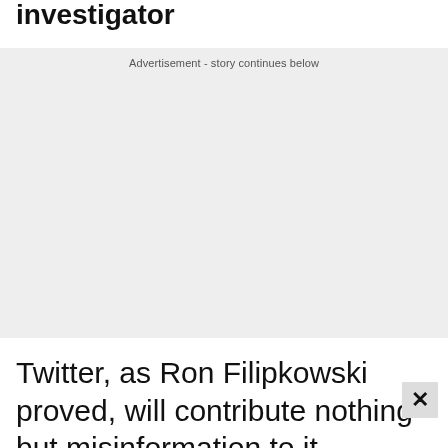investigator
[Figure (other): Advertisement placeholder box with label 'Advertisement - story continues below']
Twitter, as Ron Filipkowski proved, will contribute nothing but misinformation to it.